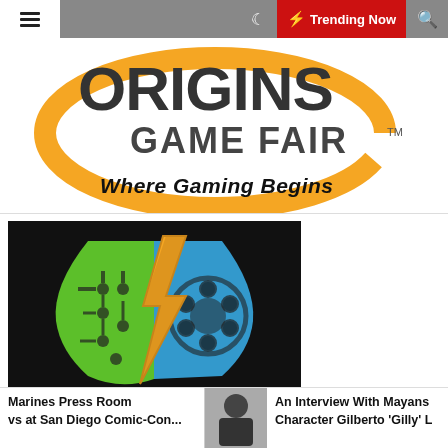≡  🌙  ⚡ Trending Now  🔍
[Figure (logo): Origins Game Fair logo with orange circular swoosh and text 'ORIGINS GAME FAIR TM' and tagline 'Where Gaming Begins' in bold italic]
[Figure (illustration): Shield logo split vertically: left half green with circuit board pattern, right half blue with film reel pattern, center gold lightning bolt on black background]
Marines Press Room
vs at San Diego Comic-Con...
An Interview With Mayans Character Gilberto 'Gilly' L